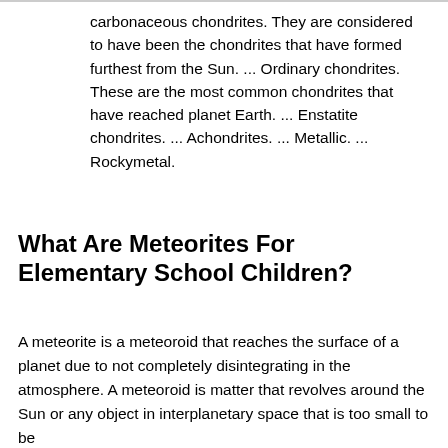carbonaceous chondrites. They are considered to have been the chondrites that have formed furthest from the Sun. ... Ordinary chondrites. These are the most common chondrites that have reached planet Earth. ... Enstatite chondrites. ... Achondrites. ... Metallic. ... Rockymetal.
What Are Meteorites For Elementary School Children?
A meteorite is a meteoroid that reaches the surface of a planet due to not completely disintegrating in the atmosphere. A meteoroid is matter that revolves around the Sun or any object in interplanetary space that is too small to be